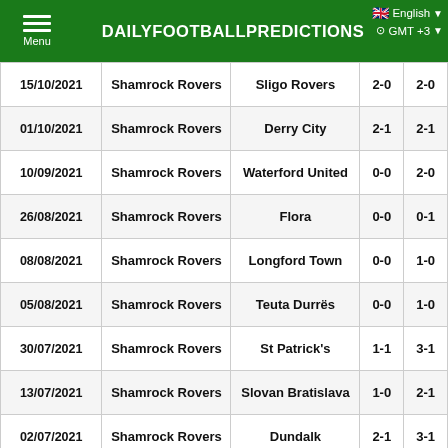DAILYFOOTBALLPREDICTIONS | Menu | English | GMT +3
| Date | Home | Away | HT | FT |
| --- | --- | --- | --- | --- |
| 15/10/2021 | Shamrock Rovers | Sligo Rovers | 2-0 | 2-0 |
| 01/10/2021 | Shamrock Rovers | Derry City | 2-1 | 2-1 |
| 10/09/2021 | Shamrock Rovers | Waterford United | 0-0 | 2-0 |
| 26/08/2021 | Shamrock Rovers | Flora | 0-0 | 0-1 |
| 08/08/2021 | Shamrock Rovers | Longford Town | 0-0 | 1-0 |
| 05/08/2021 | Shamrock Rovers | Teuta Durrës | 0-0 | 1-0 |
| 30/07/2021 | Shamrock Rovers | St Patrick's | 1-1 | 3-1 |
| 13/07/2021 | Shamrock Rovers | Slovan Bratislava | 1-0 | 2-1 |
| 02/07/2021 | Shamrock Rovers | Dundalk | 2-1 | 3-1 |